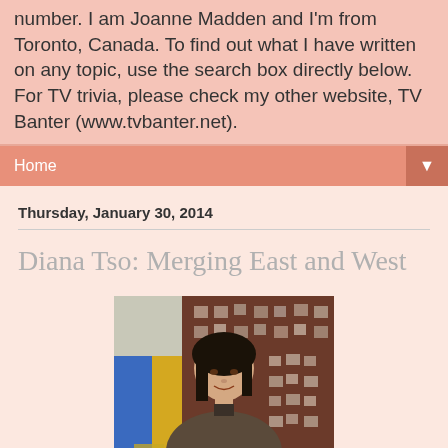number. I am Joanne Madden and I'm from Toronto, Canada. To find out what I have written on any topic, use the search box directly below. For TV trivia, please check my other website, TV Banter (www.tvbanter.net).
Home
Thursday, January 30, 2014
Diana Tso: Merging East and West
[Figure (photo): A woman with dark hair sitting in front of a colorful quilt/textile backdrop featuring blue, yellow, and dark burgundy patterns with small decorative squares]